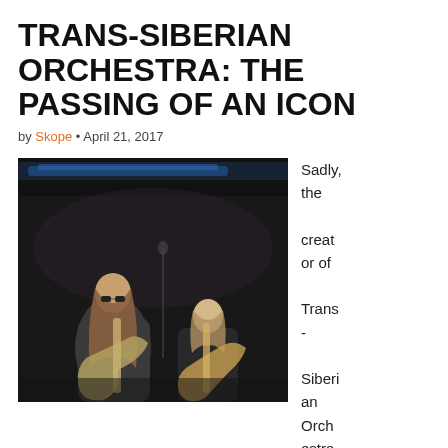TRANS-SIBERIAN ORCHESTRA: THE PASSING OF AN ICON
by Skope • April 21, 2017
[Figure (photo): Concert photo of Trans-Siberian Orchestra musicians on stage, with blue stage lighting. Two guitarists visible, one with long hair wearing a leather jacket, another in dark jacket.]
Sadly, the creator of Trans-Siberian Orchestra, Paul O'Neill,